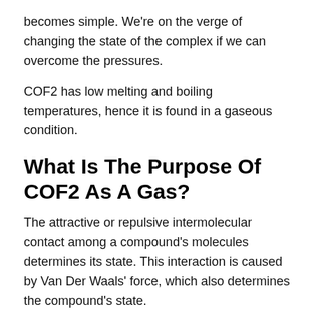becomes simple. We're on the verge of changing the state of the complex if we can overcome the pressures.
COF2 has low melting and boiling temperatures, hence it is found in a gaseous condition.
What Is The Purpose Of COF2 As A Gas?
The attractive or repulsive intermolecular contact among a compound's molecules determines its state. This interaction is caused by Van Der Waals' force, which also determines the compound's state.
The surface area or size of the molecules has a big